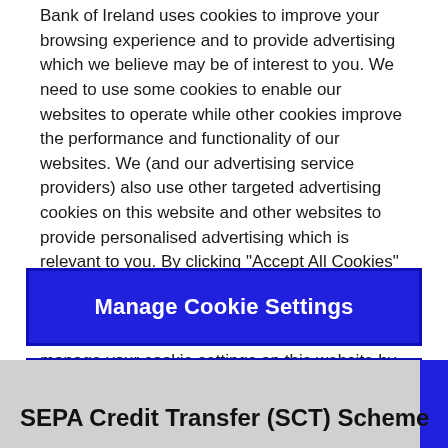Bank of Ireland uses cookies to improve your browsing experience and to provide advertising which we believe may be of interest to you. We need to use some cookies to enable our websites to operate while other cookies improve the performance and functionality of our websites. We (and our advertising service providers) also use other targeted advertising cookies on this website and other websites to provide personalised advertising which is relevant to you. By clicking "Accept All Cookies" you agree to the use of all cookies on Bank of Ireland websites. You can find out more about the different types of cookies we use and manage your cookie settings on this website by clicking "Manage Cookie Settings". To find out more about how we use cookies please read our cookies policy.
Manage Cookie Settings
SEPA Credit Transfer (SCT) Scheme